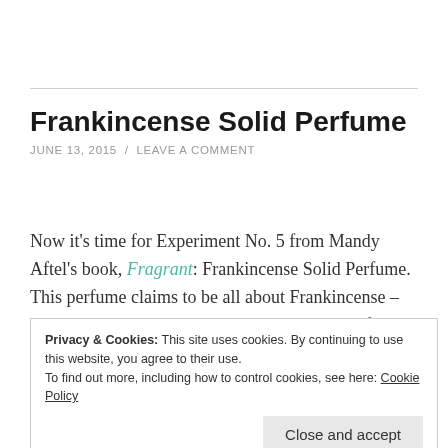Frankincense Solid Perfume
JUNE 13, 2015  /  LEAVE A COMMENT
Now it's time for Experiment No. 5 from Mandy Aftel's book, Fragrant: Frankincense Solid Perfume. This perfume claims to be all about Frankincense – but the true star is the amazing deliciousness of Fir Absolute.
Privacy & Cookies: This site uses cookies. By continuing to use this website, you agree to their use.
To find out more, including how to control cookies, see here: Cookie Policy
Close and accept
perfume: